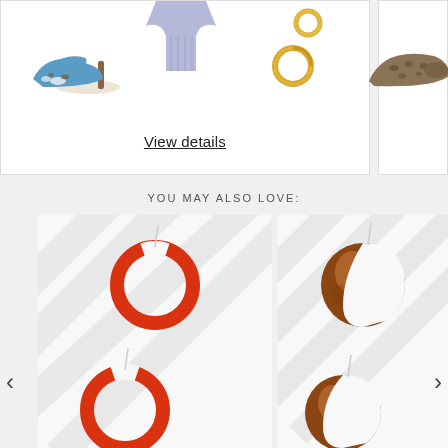[Figure (photo): Fashion product collage showing blue heeled mule shoe, blue knit top, gold hoop earrings in top card; partial leopard print flat shoe in right card]
View details
YOU MAY ALSO LOVE:
[Figure (photo): Red circular hoop earrings on white diagonal-striped background, showing two earrings]
[Figure (photo): Tortoiseshell round disc earrings on white diagonal-striped background, showing two earrings]